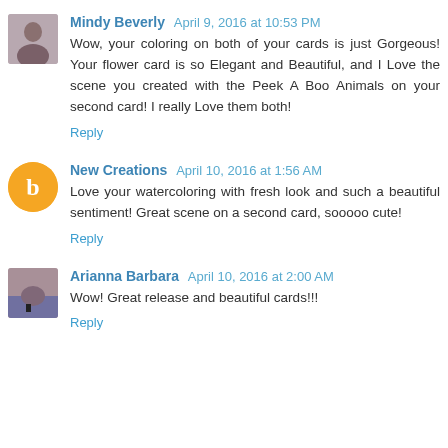Mindy Beverly  April 9, 2016 at 10:53 PM
Wow, your coloring on both of your cards is just Gorgeous! Your flower card is so Elegant and Beautiful, and I Love the scene you created with the Peek A Boo Animals on your second card! I really Love them both!
Reply
New Creations  April 10, 2016 at 1:56 AM
Love your watercoloring with fresh look and such a beautiful sentiment! Great scene on a second card, sooooo cute!
Reply
Arianna Barbara  April 10, 2016 at 2:00 AM
Wow! Great release and beautiful cards!!!
Reply